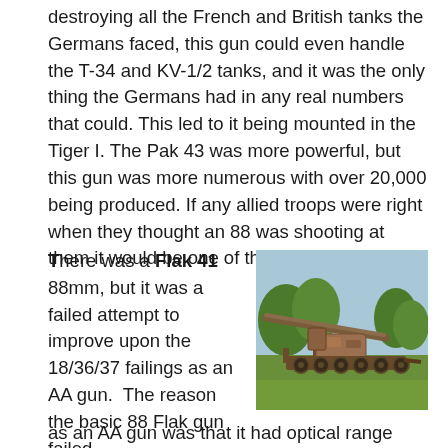destroying all the French and British tanks the Germans faced, this gun could even handle the T-34 and KV-1/2 tanks, and it was the only thing the Germans had in any real numbers that could. This led to it being mounted in the Tiger I. The Pak 43 was more powerful, but this gun was more numerous with over 20,000 being produced. If any allied troops were right when they thought an 88 was shooting at them it would be one of these.
There was a Flak 41 88mm, but it was a failed attempt to improve upon the 18/36/37 failings as an AA gun. The reason the basic 88 Flak gun failed as an AA gun was that it had optical range finding, and
[Figure (photo): A rusted/camouflaged German 88mm Flak gun mounted on a transport trailer, displayed outdoors on grass with trees in the background.]